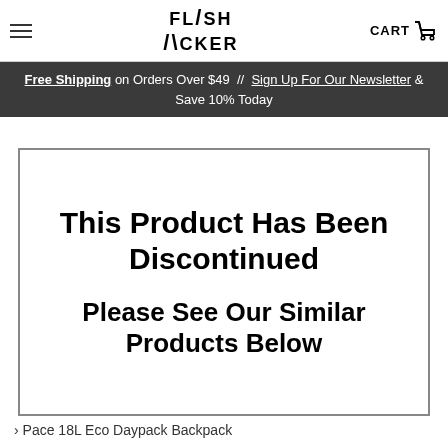FLASH PACKER | CART
Free Shipping on Orders Over $49 // Sign Up For Our Newsletter & Save 10% Today
This Product Has Been Discontinued

Please See Our Similar Products Below
› Pace 18L Eco Daypack Backpack